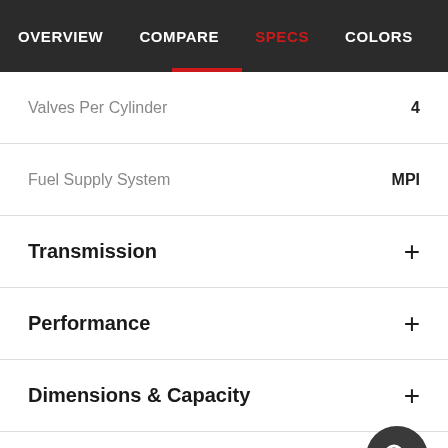OVERVIEW  COMPARE  SPECS  COLORS  IMAGES  USER
Valves Per Cylinder  4
Fuel Supply System  MPI
Transmission  +
Performance  +
Dimensions & Capacity  +
Suspension & Brakes  +
Wheel & Tyre  +